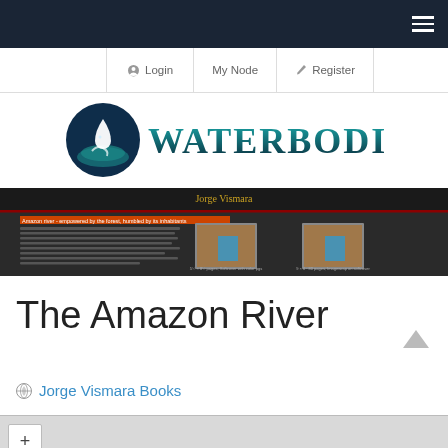Navigation bar with Login, My Node, Register buttons and hamburger menu
[Figure (logo): Waterbodies logo with circular water droplet emblem and WATERBODIES text in teal/dark gradient font]
[Figure (screenshot): Screenshot of Jorge Vismara books website showing Amazon River content with dark background]
The Amazon River
Jorge Vismara Books
[Figure (map): Map area with + zoom control button]